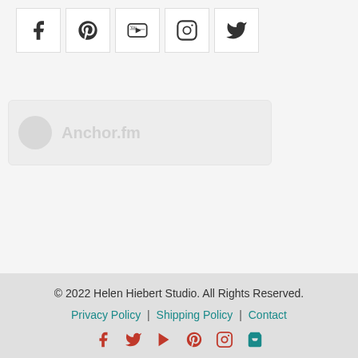[Figure (other): Row of 5 social media icon buttons (Facebook, Pinterest, YouTube, Instagram, Twitter) in white bordered boxes]
[Figure (other): Faded/greyed out Anchor.fm podcast embed widget]
© 2022 Helen Hiebert Studio. All Rights Reserved.
Privacy Policy | Shipping Policy | Contact
[Figure (other): Footer social media icons: Facebook, Twitter, Play/YouTube, Pinterest, Instagram, Cart — in red and teal colors]